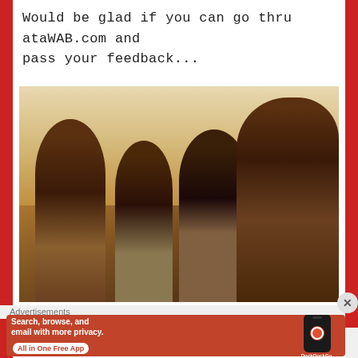Would be glad if you can go thru ataWAB.com and pass your feedback...
[Figure (photo): A group selfie photo of four men smiling, taken indoors in what appears to be a restaurant or café. The image has a warm sepia/vintage tint. Four men of South Asian appearance are visible, with one bald man on the far right taking the selfie.]
Advertisements
[Figure (screenshot): DuckDuckGo advertisement banner with orange-red background. Text reads: 'Search, browse, and email with more privacy. All in One Free App'. Shows a phone with DuckDuckGo logo and app name.]